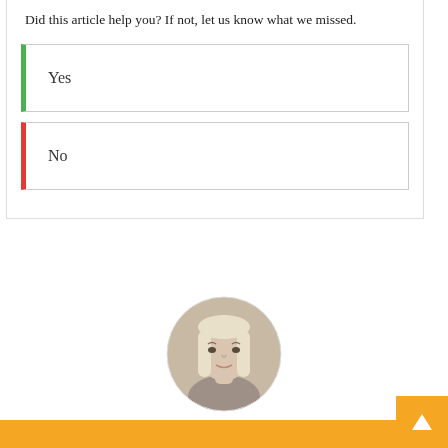Did this article help you? If not, let us know what we missed.
Yes
No
[Figure (photo): Circular portrait photo of Nicole Evans, a woman with long blonde hair.]
Nicole Evans
Journalist with a love of all things nerdy. Will play almost any video chelors with